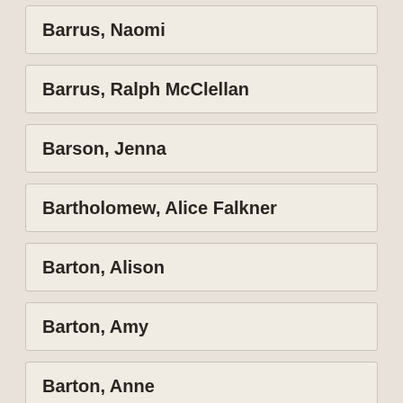Barrus, Naomi
Barrus, Ralph McClellan
Barson, Jenna
Bartholomew, Alice Falkner
Barton, Alison
Barton, Amy
Barton, Anne
Barton, Miss